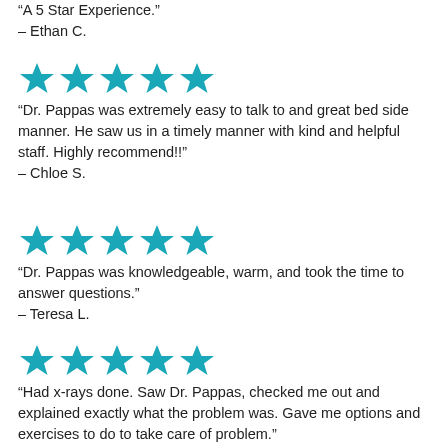“A 5 Star Experience.”
– Ethan C.
[Figure (illustration): Five teal/cyan five-pointed stars in a row representing a 5-star rating]
“Dr. Pappas was extremely easy to talk to and great bed side manner. He saw us in a timely manner with kind and helpful staff. Highly recommend!!”
– Chloe S.
[Figure (illustration): Five teal/cyan five-pointed stars in a row representing a 5-star rating]
“Dr. Pappas was knowledgeable, warm, and took the time to answer questions.”
– Teresa L.
[Figure (illustration): Five teal/cyan five-pointed stars in a row representing a 5-star rating]
“Had x-rays done. Saw Dr. Pappas, checked me out and explained exactly what the problem was. Gave me options and exercises to do to take care of problem.”